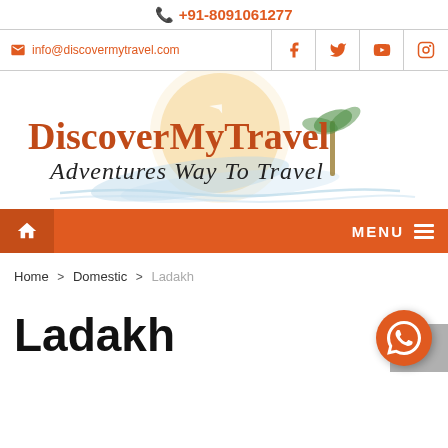+91-8091061277
info@discovermytravel.com
[Figure (logo): DiscoverMyTravel logo with orange text 'DiscoverMyTravel' and cursive subtitle 'Adventures Way To Travel', with sun and palm tree graphic background]
MENU
Home > Domestic > Ladakh
Ladakh